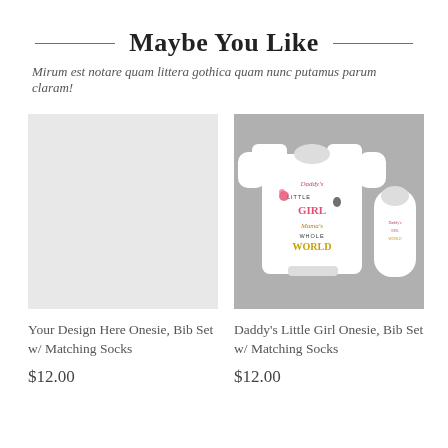Maybe You Like
Mirum est notare quam littera gothica quam nunc putamus parum claram!
[Figure (photo): Empty product placeholder for 'Your Design Here Onesie, Bib Set w/ Matching Socks']
[Figure (photo): Photo of a white baby onesie and bib set with 'Daddy's Little Girl, Mama's Whole World' design text on gray background]
Your Design Here Onesie, Bib Set w/ Matching Socks
$12.00
Daddy's Little Girl Onesie, Bib Set w/ Matching Socks
$12.00